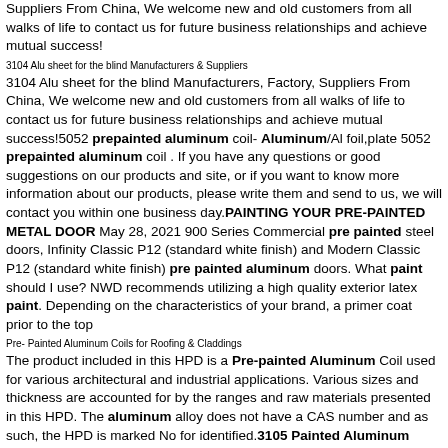Suppliers From China, We welcome new and old customers from all walks of life to contact us for future business relationships and achieve mutual success!
3104 Alu sheet for the blind Manufacturers & Suppliers
3104 Alu sheet for the blind Manufacturers, Factory, Suppliers From China, We welcome new and old customers from all walks of life to contact us for future business relationships and achieve mutual success!5052 prepainted aluminum coil- Aluminum/Al foil,plate 5052 prepainted aluminum coil . If you have any questions or good suggestions on our products and site, or if you want to know more information about our products, please write them and send to us, we will contact you within one business day.PAINTING YOUR PRE-PAINTED METAL DOOR May 28, 2021 900 Series Commercial pre painted steel doors, Infinity Classic P12 (standard white finish) and Modern Classic P12 (standard white finish) pre painted aluminum doors. What paint should I use? NWD recommends utilizing a high quality exterior latex paint. Depending on the characteristics of your brand, a primer coat prior to the top
Pre- Painted Aluminum Coils for Roofing & Claddings
The product included in this HPD is a Pre-painted Aluminum Coil used for various architectural and industrial applications. Various sizes and thickness are accounted for by the ranges and raw materials presented in this HPD. The aluminum alloy does not have a CAS number and as such, the HPD is marked No for identified.3105 Painted Aluminum Sheet Pre-Painted Aluminum Sheet